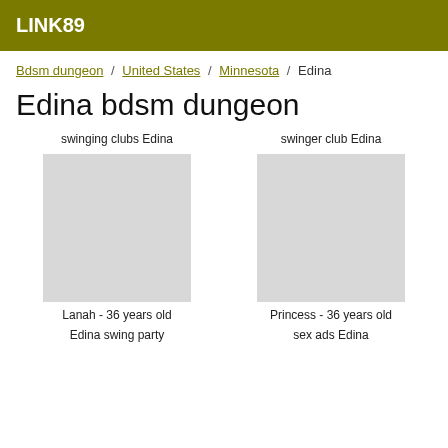LINK89
Bdsm dungeon / United States / Minnesota / Edina
Edina bdsm dungeon
swinging clubs Edina
swinger club Edina
[Figure (photo): Photo placeholder left]
[Figure (photo): Photo placeholder right]
Lanah - 36 years old
Princess - 36 years old
Edina swing party
sex ads Edina